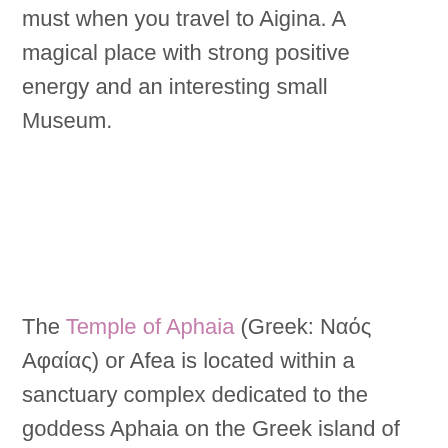must when you travel to Aigina. A magical place with strong positive energy and an interesting small Museum.
The Temple of Aphaia (Greek: Ναός Αφαίας) or Afea is located within a sanctuary complex dedicated to the goddess Aphaia on the Greek island of Aigina, which lies in the Saronic Gulf. Aphaia (Greek Ἀφαία) was a Greek goddess who was worshipped exclusively at this sanctuary. The extant temple of c. 500 BC was built over the remains of an earlier temple of c. 570 BC